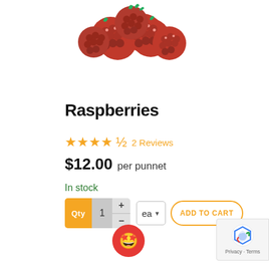[Figure (photo): Cluster of fresh red raspberries photographed on white background, partially cropped at top of image]
Raspberries
★★★★½ 2 Reviews
$12.00 per punnet
In stock
[Figure (other): Quantity selector with Qty label in orange, number 1 in grey, plus/minus buttons, ea dropdown, and ADD TO CART button with orange border]
[Figure (other): Red circular chat/support button with sunglasses star emoji icon]
[Figure (other): Google reCAPTCHA badge with logo and Privacy · Terms text]